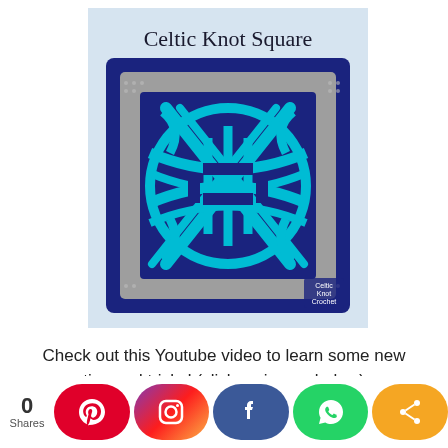[Figure (illustration): Crochet Celtic Knot Square pattern image. Light blue background with title 'Celtic Knot Square' at top. Shows a crocheted square with dark navy blue background, gray border, and a cyan/turquoise celtic knot design in the center. Logo in bottom right corner.]
Check out this Youtube video to learn some new tips and tricks! (click on image below)